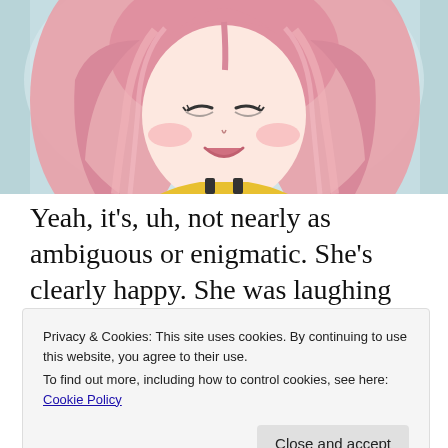[Figure (illustration): Anime-style illustration of a girl with pink hair, closed eyes, and a happy/smiling expression. She has long pink hair, fair skin with rosy cheeks, and appears to be wearing a yellow top with dark straps. Background is light blue.]
Yeah, it's, uh, not nearly as ambiguous or enigmatic. She's clearly happy. She was laughing when Plumella painted her. I don't
Privacy & Cookies: This site uses cookies. By continuing to use this website, you agree to their use.
To find out more, including how to control cookies, see here: Cookie Policy
before painting.